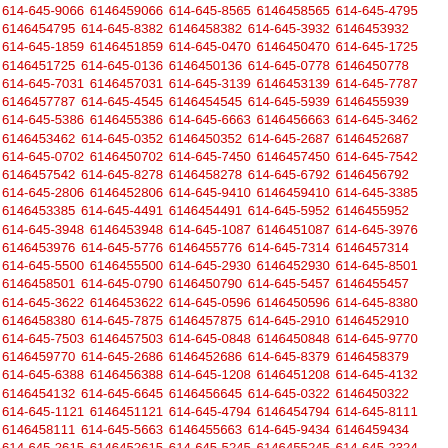614-645-9066 6146459066 614-645-8565 6146458565 614-645-4795 6146454795 614-645-8382 6146458382 614-645-3932 6146453932 614-645-1859 6146451859 614-645-0470 6146450470 614-645-1725 6146451725 614-645-0136 6146450136 614-645-0778 6146450778 614-645-7031 6146457031 614-645-3139 6146453139 614-645-7787 6146457787 614-645-4545 6146454545 614-645-5939 6146455939 614-645-5386 6146455386 614-645-6663 6146456663 614-645-3462 6146453462 614-645-0352 6146450352 614-645-2687 6146452687 614-645-0702 6146450702 614-645-7450 6146457450 614-645-7542 6146457542 614-645-8278 6146458278 614-645-6792 6146456792 614-645-2806 6146452806 614-645-9410 6146459410 614-645-3385 6146453385 614-645-4491 6146454491 614-645-5952 6146455952 614-645-3948 6146453948 614-645-1087 6146451087 614-645-3976 6146453976 614-645-5776 6146455776 614-645-7314 6146457314 614-645-5500 6146455500 614-645-2930 6146452930 614-645-8501 6146458501 614-645-0790 6146450790 614-645-5457 6146455457 614-645-3622 6146453622 614-645-0596 6146450596 614-645-8380 6146458380 614-645-7875 6146457875 614-645-2910 6146452910 614-645-7503 6146457503 614-645-0848 6146450848 614-645-9770 6146459770 614-645-2686 6146452686 614-645-8379 6146458379 614-645-6388 6146456388 614-645-1208 6146451208 614-645-4132 6146454132 614-645-6645 6146456645 614-645-0322 6146450322 614-645-1121 6146451121 614-645-4794 6146454794 614-645-8111 6146458111 614-645-5663 6146455663 614-645-9434 6146459434 614-645-2615 6146452615 614-645-5245 6146455245 614-645-2324